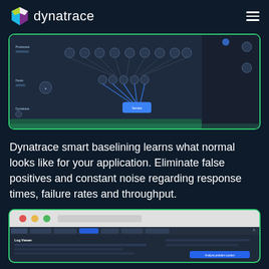[Figure (logo): Dynatrace logo with colorful cube icon and white wordmark]
[Figure (screenshot): Dynatrace application topology/service flow map on dark background showing interconnected nodes with blue highlighted path]
Dynatrace smart baselining learns what normal looks like for your application. Eliminate false positives and constant noise regarding response times, failure rates and throughput.
[Figure (screenshot): Browser window mockup showing Dynatrace log viewer interface with traffic light controls, navigation tabs, and content area]